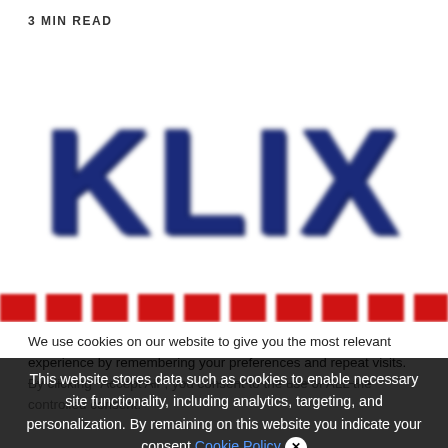3 MIN READ
[Figure (logo): KLIX logo in large dark navy blue block letters with blurred/bold effect, and a partially visible red striped bar at the bottom]
We use cookies on our website to give you the most relevant experience by remembering your preferences and repeat visits. By clicking “Accept All”, you consent to the use of ALL the controlled consent.
This website stores data such as cookies to enable necessary site functionality, including analytics, targeting, and personalization. By remaining on this website you indicate your consent Cookie Policy ×